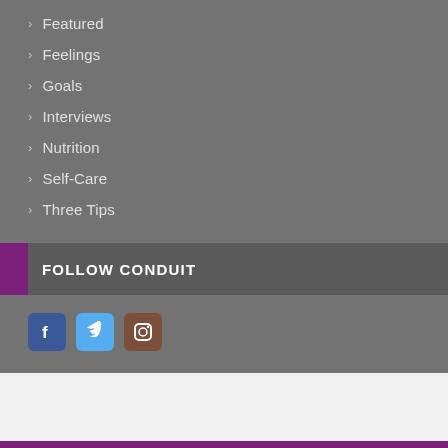Featured
Feelings
Goals
Interviews
Nutrition
Self-Care
Three Tips
FOLLOW CONDUIT
[Figure (illustration): Social media icons: Facebook (blue), Twitter (light blue), Instagram (brown/dark)]
216.904.7676
© 2016-2022 Conduit Fitness, LLC. All Rights Reserved. | TERMS & CONDITIONS | PRIVACY POLICY